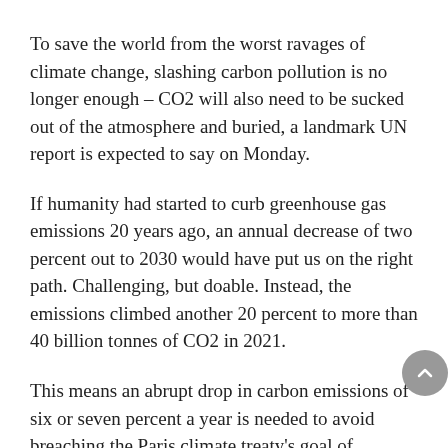To save the world from the worst ravages of climate change, slashing carbon pollution is no longer enough – CO2 will also need to be sucked out of the atmosphere and buried, a landmark UN report is expected to say on Monday.
If humanity had started to curb greenhouse gas emissions 20 years ago, an annual decrease of two percent out to 2030 would have put us on the right path. Challenging, but doable. Instead, the emissions climbed another 20 percent to more than 40 billion tonnes of CO2 in 2021.
This means an abrupt drop in carbon emissions of six or seven percent a year is needed to avoid breaching the Paris climate treaty's goal of capping global warming at